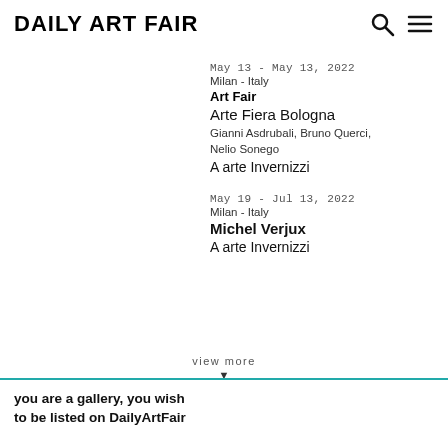DAILY ART FAIR
May 13 - May 13, 2022
Milan - Italy
Art Fair
Arte Fiera Bologna
Gianni Asdrubali, Bruno Querci, Nelio Sonego
A arte Invernizzi
May 19 - Jul 13, 2022
Milan - Italy
Michel Verjux
A arte Invernizzi
view more
you are a gallery, you wish to be listed on DailyArtFair